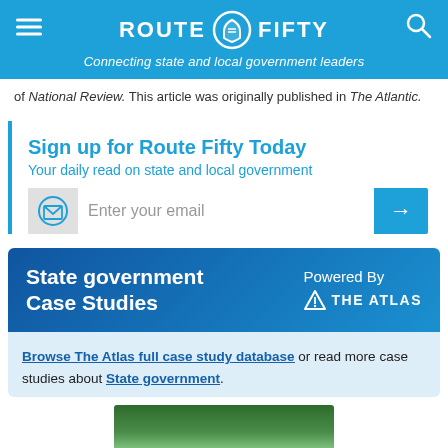ROUTE FIFTY — Connecting state and local government leaders
of National Review. This article was originally published in The Atlantic.
Sign up for Route Fifty Today
Your daily read on state and local government
Enter your email
State government Case Studies — Powered By THE ATLAS
Browse The Atlas full case study database or read more case studies about State government.
[Figure (photo): Photo of trees and a building (state capitol) visible at the bottom of the page.]